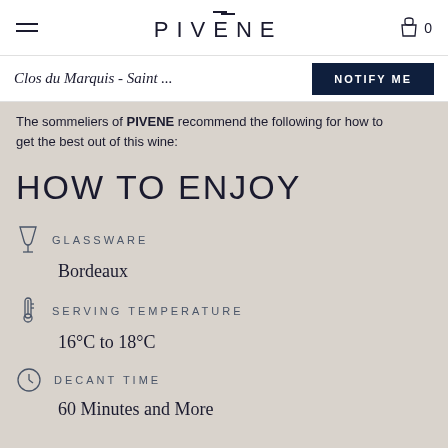PIVENE
Clos du Marquis - Saint ...
The sommeliers of PIVENE recommend the following for how to get the best out of this wine:
HOW TO ENJOY
GLASSWARE
Bordeaux
SERVING TEMPERATURE
16°C to 18°C
DECANT TIME
60 Minutes and More